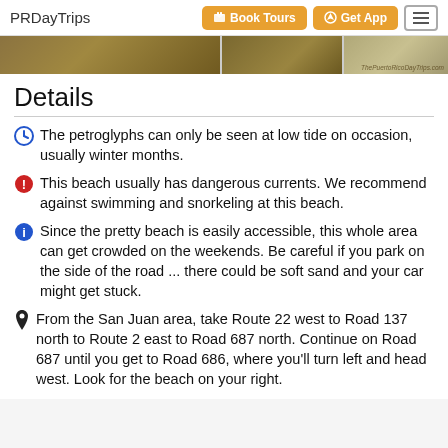PRDayTrips | Book Tours | Get App
[Figure (photo): Partial view of beach/petroglyph site photos in a strip at the top of the content area]
Details
The petroglyphs can only be seen at low tide on occasion, usually winter months.
This beach usually has dangerous currents. We recommend against swimming and snorkeling at this beach.
Since the pretty beach is easily accessible, this whole area can get crowded on the weekends. Be careful if you park on the side of the road ... there could be soft sand and your car might get stuck.
From the San Juan area, take Route 22 west to Road 137 north to Route 2 east to Road 687 north. Continue on Road 687 until you get to Road 686, where you'll turn left and head west. Look for the beach on your right.